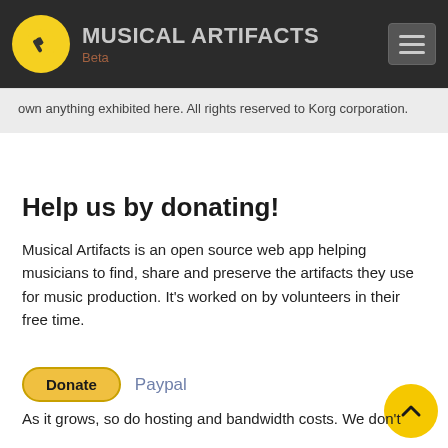MUSICAL ARTIFACTS Beta
own anything exhibited here. All rights reserved to Korg corporation.
Help us by donating!
Musical Artifacts is an open source web app helping musicians to find, share and preserve the artifacts they use for music production. It's worked on by volunteers in their free time.
Donate  Paypal
As it grows, so do hosting and bandwidth costs. We don't